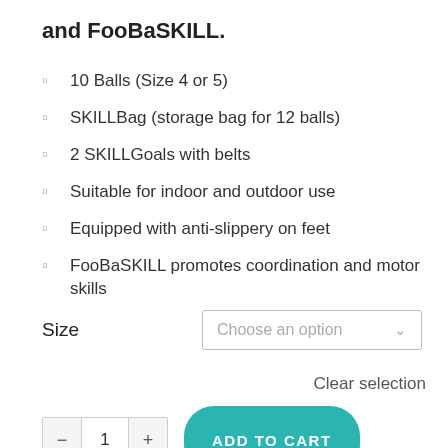and FooBaSKILL.
10 Balls (Size 4 or 5)
SKILLBag (storage bag for 12 balls)
2 SKILLGoals with belts
Suitable for indoor and outdoor use
Equipped with anti-slippery on feet
FooBaSKILL promotes coordination and motor skills
Size  Choose an option
Clear selection
1  ADD TO CART